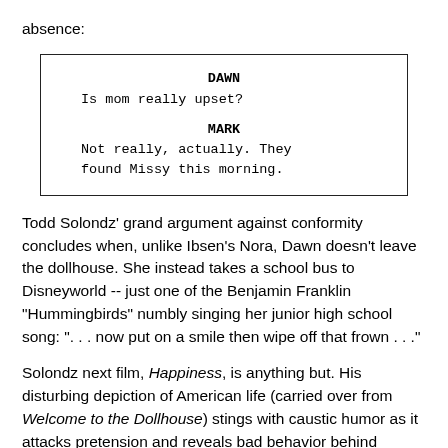absence:
| DAWN | Is mom really upset? |
| MARK | Not really, actually. They found Missy this morning. |
Todd Solondz' grand argument against conformity concludes when, unlike Ibsen's Nora, Dawn doesn't leave the dollhouse. She instead takes a school bus to Disneyworld -- just one of the Benjamin Franklin "Hummingbirds" numbly singing her junior high school song: ". . . now put on a smile then wipe off that frown . . ."
Solondz next film, Happiness, is anything but. His disturbing depiction of American life (carried over from Welcome to the Dollhouse) stings with caustic humor as it attacks pretension and reveals bad behavior behind